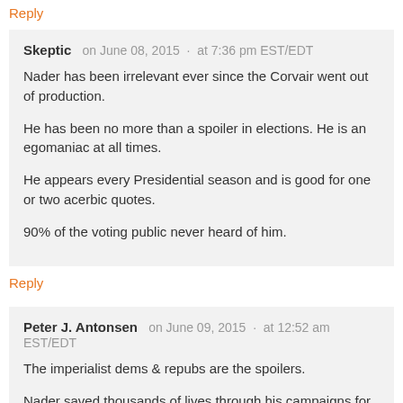Reply
Skeptic   on June 08, 2015  ·  at 7:36 pm EST/EDT
Nader has been irrelevant ever since the Corvair went out of production.

He has been no more than a spoiler in elections. He is an egomaniac at all times.

He appears every Presidential season and is good for one or two acerbic quotes.

90% of the voting public never heard of him.
Reply
Peter J. Antonsen    on June 09, 2015  ·  at 12:52 am EST/EDT
The imperialist dems & repubs are the spoilers.

Nader saved thousands of lives through his campaigns for auto safety. Nader would be better known if he wasn't blacked out of the controlled media, or blocked from participating in the